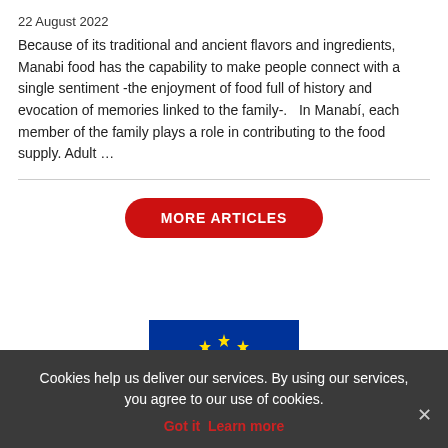22 August 2022
Because of its traditional and ancient flavors and ingredients, Manabi food has the capability to make people connect with a single sentiment -the enjoyment of food full of history and evocation of memories linked to the family-.   In Manabí, each member of the family plays a role in contributing to the food supply. Adult …
[Figure (other): Red pill-shaped button with white bold text reading MORE ARTICLES]
[Figure (other): EU flag logo banner with blue background and yellow stars]
Cookies help us deliver our services. By using our services, you agree to our use of cookies.
Got it  Learn more